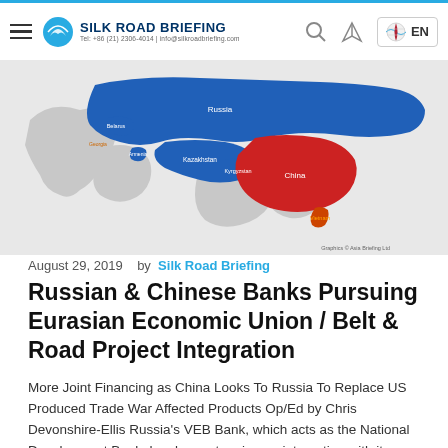Silk Road Briefing
[Figure (map): Map of Eurasia showing Russia highlighted in blue, China highlighted in red, and other countries (Belarus, Georgia, Armenia, Kazakhstan, Kyrgyzstan, Vietnam) labeled. Graphic © Asia Briefing Ltd.]
August 29, 2019   by Silk Road Briefing
Russian & Chinese Banks Pursuing Eurasian Economic Union / Belt & Road Project Integration
More Joint Financing as China Looks To Russia To Replace US Produced Trade War Affected Products Op/Ed by Chris Devonshire-Ellis Russia's VEB Bank, which acts as the National Development Bank, has been stepping up interaction with its Chinese strategic partner the China Development Bank (CDB) to